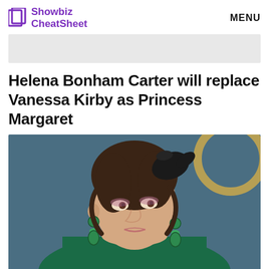Showbiz CheatSheet  MENU
Helena Bonham Carter will replace Vanessa Kirby as Princess Margaret
[Figure (photo): Helena Bonham Carter photographed at a premiere event wearing a green dress and large emerald earrings, with an elaborate updo hairstyle decorated with a dark feathered ornament, against a blue background with a partial gold circular design.]